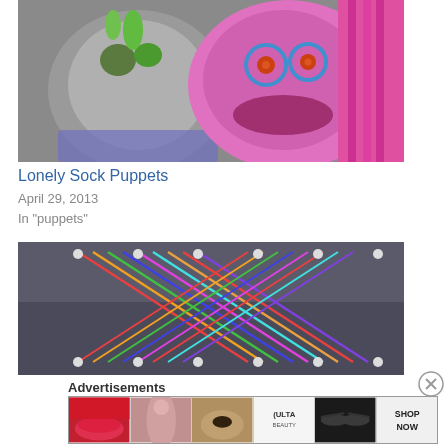[Figure (photo): Two colorful sock puppets - one gray with green decoration, one pink with button eyes and blue glasses, with pink yarn hair]
Lonely Sock Puppets
April 29, 2013
In "puppets"
[Figure (photo): String art craft project on a dark board with nails and colorful rubber bands or strings creating a geometric diamond/zigzag pattern]
Advertisements
[Figure (other): ULTA Beauty advertisement banner with makeup imagery including lips, brush, eye, ULTA logo, dramatic eye makeup, and SHOP NOW text]